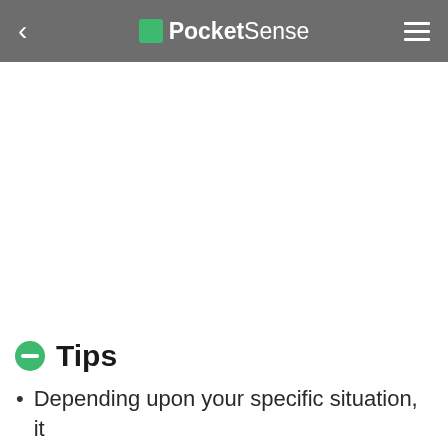PocketSense
Tips
Depending upon your specific situation, it